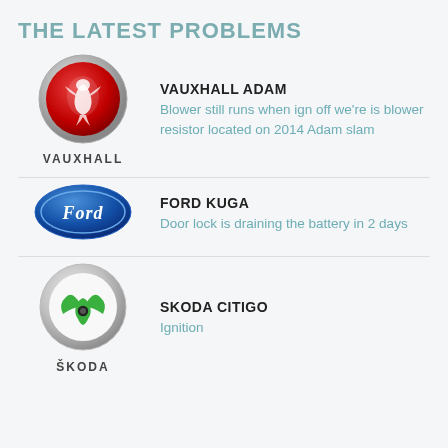THE LATEST PROBLEMS
[Figure (logo): Vauxhall logo — circular red and silver griffin emblem above the word VAUXHALL in bold black capitals]
VAUXHALL ADAM
Blower still runs when ign off we're is blower resistor located on 2014 Adam slam
[Figure (logo): Ford logo — blue oval with Ford script in white]
FORD KUGA
Door lock is draining the battery in 2 days
[Figure (logo): Skoda logo — circular chrome ring with green winged arrow emblem, ŠKODA in bold black capitals below]
SKODA CITIGO
Ignition